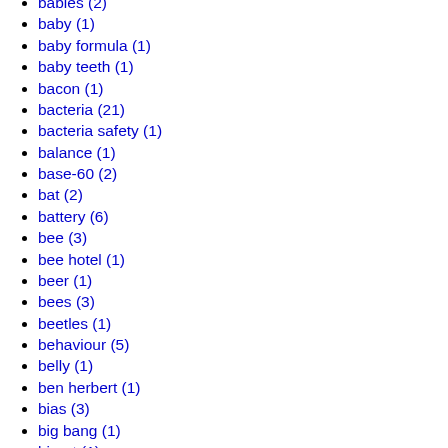babies (2)
baby (1)
baby formula (1)
baby teeth (1)
bacon (1)
bacteria (21)
bacteria safety (1)
balance (1)
base-60 (2)
bat (2)
battery (6)
bee (3)
bee hotel (1)
beer (1)
bees (3)
beetles (1)
behaviour (5)
belly (1)
ben herbert (1)
bias (3)
big bang (1)
bioart (1)
biodome (1)
bioethics (2)
biofoundry (3)
biofuel (1)